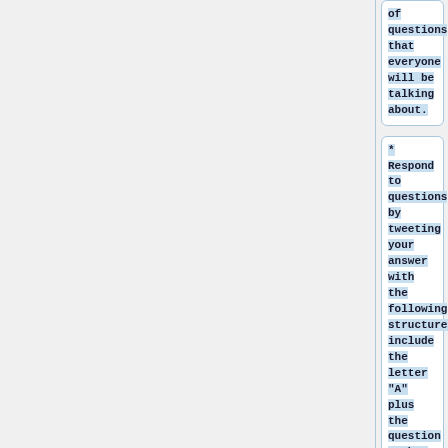of questions that everyone will be talking about.
* Respond to questions by tweeting your answer with the following structure: include the letter "A" plus the question number in your